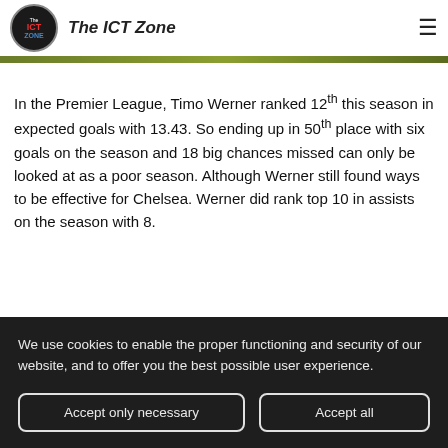The ICT Zone
In the Premier League, Timo Werner ranked 12th this season in expected goals with 13.43. So ending up in 50th place with six goals on the season and 18 big chances missed can only be looked at as a poor season. Although Werner still found ways to be effective for Chelsea. Werner did rank top 10 in assists on the season with 8.
We use cookies to enable the proper functioning and security of our website, and to offer you the best possible user experience.